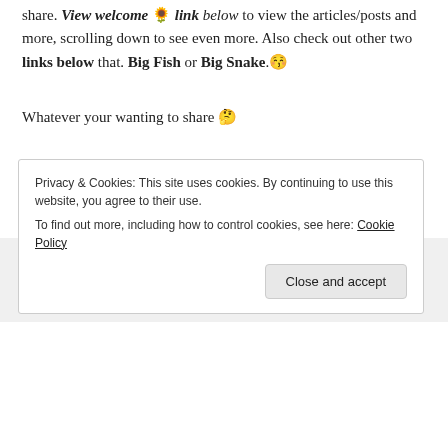share. View welcome 🌻 link below to view the articles/posts and more, scrolling down to see even more. Also check out other two links below that. Big Fish or Big Snake. 😚
Whatever your wanting to share 🤔
Hit Show above to take you to other menu pages on smaller devices.
[Figure (photo): Row of three circular profile photo avatars and a blue circle with a plus sign, on a light gray background]
Privacy & Cookies: This site uses cookies. By continuing to use this website, you agree to their use.
To find out more, including how to control cookies, see here: Cookie Policy